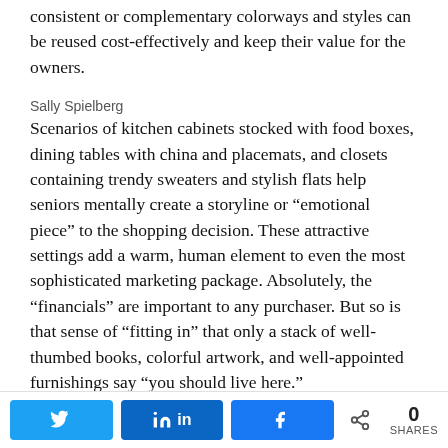consistent or complementary colorways and styles can be reused cost-effectively and keep their value for the owners.
Sally Spielberg
Scenarios of kitchen cabinets stocked with food boxes, dining tables with china and placemats, and closets containing trendy sweaters and stylish flats help seniors mentally create a storyline or “emotional piece” to the shopping decision. These attractive settings add a warm, human element to even the most sophisticated marketing package. Absolutely, the “financials” are important to any purchaser. But so is that sense of “fitting in” that only a stack of well-thumbed books, colorful artwork, and well-appointed furnishings say “you should live here.”
0 SHARES